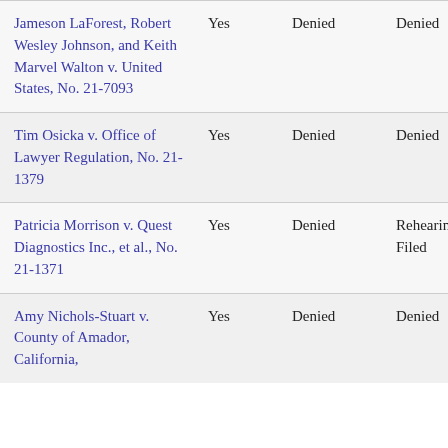| Case | Cert Granted? | Circuit Decision | En Banc Status | Circuit |
| --- | --- | --- | --- | --- |
| Jameson LaForest, Robert Wesley Johnson, and Keith Marvel Walton v. United States, No. 21-7093 | Yes | Denied | Denied | Ni... Cir... |
| Tim Osicka v. Office of Lawyer Regulation, No. 21-1379 | Yes | Denied | Denied | Sev... Cir... |
| Patricia Morrison v. Quest Diagnostics Inc., et al., No. 21-1371 | Yes | Denied | Rehearing Filed | Ni... Cir... |
| Amy Nichols-Stuart v. County of Amador, California... | Yes | Denied | Denied | Ca... |